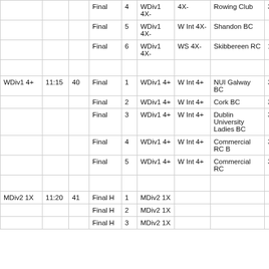| Event | Time | Race# | RaceType | Lane | Category | Class | Club | Time |
| --- | --- | --- | --- | --- | --- | --- | --- | --- |
|  |  |  | Final | 4 | WDiv1 4X- | 4X- | Rowing Club | 3 |
|  |  |  | Final | 5 | WDiv1 4X- | W Int 4X- | Shandon BC |  |
|  |  |  | Final | 6 | WDiv1 4X- | WS 4X- | Skibbereen RC | 1 |
|  |  |  |  |  |  |  |  |  |
| WDiv1 4+ | 11:15 | 40 | Final | 1 | WDiv1 4+ | W Int 4+ | NUI Galway BC | 3:55: |
|  |  |  | Final | 2 | WDiv1 4+ | W Int 4+ | Cork BC | 3:55: |
|  |  |  | Final | 3 | WDiv1 4+ | W Int 4+ | Dublin University Ladies BC | 3:55: |
|  |  |  | Final | 4 | WDiv1 4+ | W Int 4+ | Commercial RC B | 3:55: |
|  |  |  | Final | 5 | WDiv1 4+ | W Int 4+ | Commercial RC | 3:55: |
|  |  |  |  |  |  |  |  |  |
| MDiv2 1X | 11:20 | 41 | Final H | 1 | MDiv2 1X |  |  |  |
|  |  |  | Final H | 2 | MDiv2 1X |  |  |  |
|  |  |  | Final H | 3 | MDiv2 1X |  |  |  |